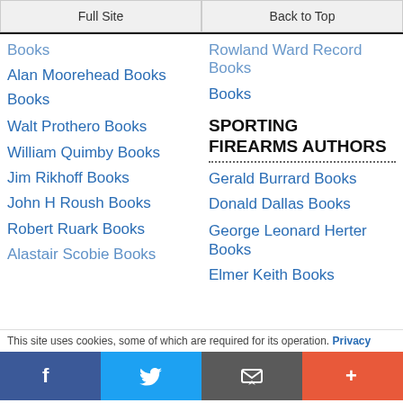Full Site | Back to Top
Books (partial, left col top)
Alan Moorehead Books
Books
Walt Prothero Books
William Quimby Books
Jim Rikhoff Books
John H Roush Books
Robert Ruark Books
Alastair Scobie Books (partial)
Rowland Ward Record Books (partial, right col top)
Books (right col top)
SPORTING FIREARMS AUTHORS
Gerald Burrard Books
Donald Dallas Books
George Leonard Herter Books
Elmer Keith Books
This site uses cookies, some of which are required for its operation. Privacy